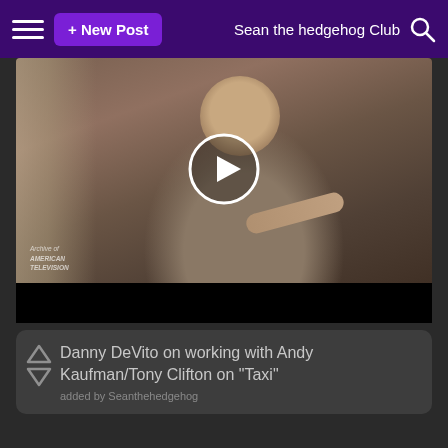≡  + New Post    Sean the hedgehog Club 🔍
[Figure (photo): Video thumbnail showing an older man gesturing, with Archive of American Television watermark and a circular play button overlay]
Danny DeVito on working with Andy Kaufman/Tony Clifton on "Taxi"
added by Seanthehedgehog
You Might Also Like...
Taylor rapide, swift
Michael Jackson